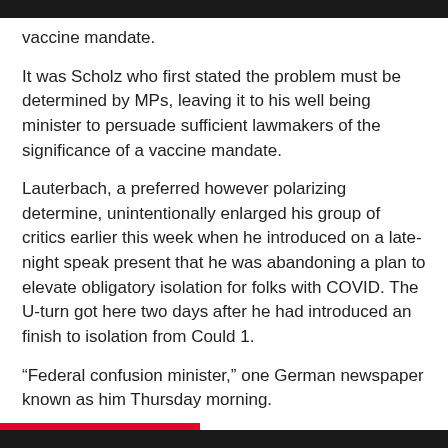vaccine mandate.
It was Scholz who first stated the problem must be determined by MPs, leaving it to his well being minister to persuade sufficient lawmakers of the significance of a vaccine mandate.
Lauterbach, a preferred however polarizing determine, unintentionally enlarged his group of critics earlier this week when he introduced on a late-night speak present that he was abandoning a plan to elevate obligatory isolation for folks with COVID. The U-turn got here two days after he had introduced an finish to isolation from Could 1.
“Federal confusion minister,” one German newspaper known as him Thursday morning.
Properly conscious that it was going to be shut name